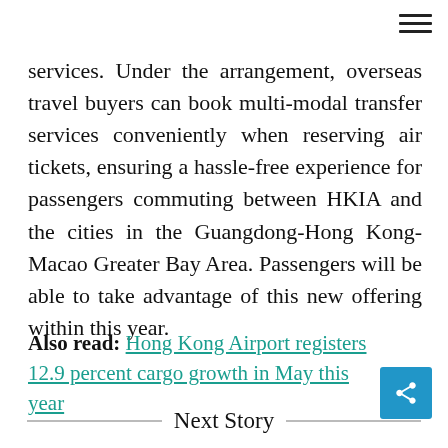services. Under the arrangement, overseas travel buyers can book multi-modal transfer services conveniently when reserving air tickets, ensuring a hassle-free experience for passengers commuting between HKIA and the cities in the Guangdong-Hong Kong-Macao Greater Bay Area. Passengers will be able to take advantage of this new offering within this year.
Also read: Hong Kong Airport registers 12.9 percent cargo growth in May this year
Next Story